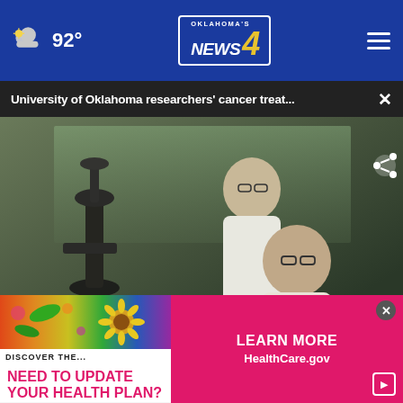92° Oklahoma's News 4
University of Oklahoma researchers' cancer treat... ×
[Figure (screenshot): Video still of two researchers in white lab coats using a microscope; lower-third banner reads: NEW AT 5 — CANCER DRUG DEVELOPED IN OKLAHOMA COULD BE A GAME-CHANGER with Oklahoma's News 4 logo]
[Figure (photo): Advertisement: colorful floral/sunflower image with text DISCOVER... and below: NEED TO UPDATE YOUR HEALTH PLAN? alongside LEARN MORE HealthCare.gov on a pink/red background]